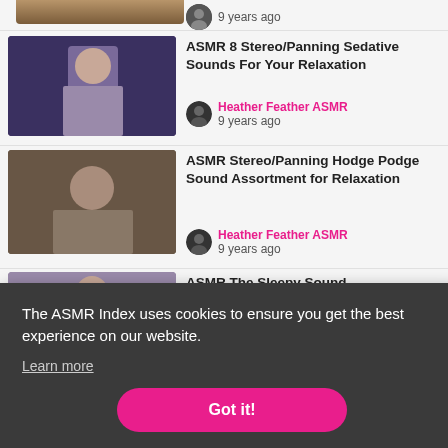[Figure (photo): Partial thumbnail of a video, cropped at top]
9 years ago
[Figure (photo): Thumbnail of a woman holding an object, for ASMR 8 Stereo/Panning Sedative Sounds For Your Relaxation]
ASMR 8 Stereo/Panning Sedative Sounds For Your Relaxation
Heather Feather ASMR
9 years ago
[Figure (photo): Thumbnail of a woman with long dark hair for ASMR Stereo/Panning Hodge Podge Sound Assortment for Relaxation]
ASMR Stereo/Panning Hodge Podge Sound Assortment for Relaxation
Heather Feather ASMR
9 years ago
[Figure (photo): Partial thumbnail visible behind cookie banner]
ASMR The Sleepy Sound... xation
For
Heather Feather ASMR
The ASMR Index uses cookies to ensure you get the best experience on our website.
Learn more
Got it!